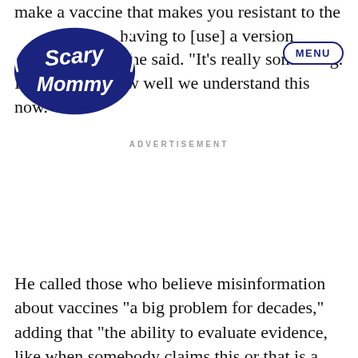[Figure (logo): Scary Mommy logo - dark navy blue stylized text logo with swirly decorative font]
make a vaccine that makes you resistant to the having to [use] a version e," he said. "It’s really something. It shows you how well we understand this now."
ADVERTISEMENT
He called those who believe misinformation about vaccines “a big problem for decades,” adding that “the ability to evaluate evidence, like when somebody claims this or that is a fact, and decide whether or not it’s reasonable,” is